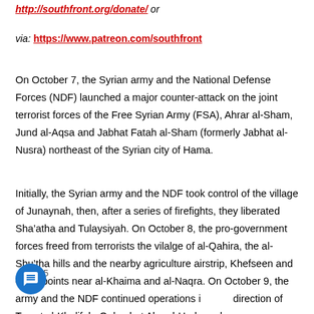http://southfront.org/donate/ or
via: https://www.patreon.com/southfront
On October 7, the Syrian army and the National Defense Forces (NDF) launched a major counter-attack on the joint terrorist forces of the Free Syrian Army (FSA), Ahrar al-Sham, Jund al-Aqsa and Jabhat Fatah al-Sham (formerly Jabhat al-Nusra) northeast of the Syrian city of Hama.
Initially, the Syrian army and the NDF took control of the village of Junaynah, then, after a series of firefights, they liberated Sha’atha and Tulaysiyah. On October 8, the pro-government forces freed from terrorists the vilalge of al-Qahira, the al-Shu’tha hills and the nearby agriculture airstrip, Khefseen and checkpoints near al-Khaima and al-Naqra. On October 9, the army and the NDF continued operations in the direction of Tamat al-Khalifah, Qubaybat Abu al-Huda and Kubhariyah. By October 10, they have recaptured the strategic town